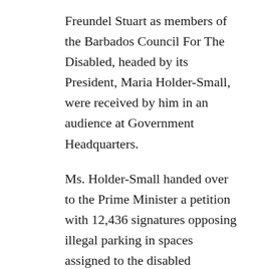Freundel Stuart as members of the Barbados Council For The Disabled, headed by its President, Maria Holder-Small, were received by him in an audience at Government Headquarters.
Ms. Holder-Small handed over to the Prime Minister a petition with 12,436 signatures opposing illegal parking in spaces assigned to the disabled community.
The other persons present included Public Relations Officer, Errol Hurley; Member, Lionel Smith; Volunteer, Atiba Aluko; Office Manager at the Council, Roseanna Tudor; Interpreter for the Deaf, Bonnie Leonce; President of the Kiwani???s Pride of Barbados, Donna Jackson; and Represents...